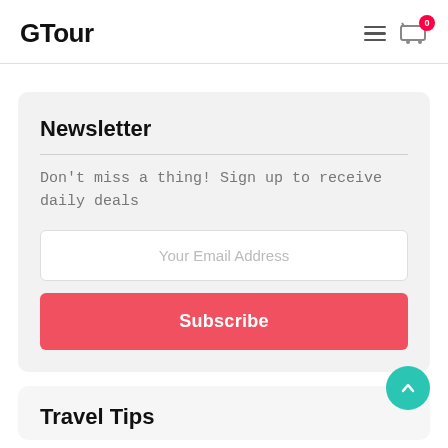GTour
Newsletter
Don't miss a thing! Sign up to receive daily deals
Your Email Address
Subscribe
Travel Tips